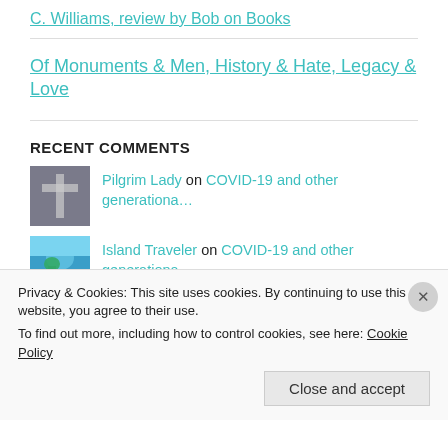C. Williams, review by Bob on Books
Of Monuments & Men, History & Hate, Legacy & Love
RECENT COMMENTS
Pilgrim Lady on COVID-19 and other generationa…
Island Traveler on COVID-19 and other generationa…
GretchenJoanna on HONOR THY FATHER AND THY MOTHE…
Privacy & Cookies: This site uses cookies. By continuing to use this website, you agree to their use.
To find out more, including how to control cookies, see here: Cookie Policy
Close and accept